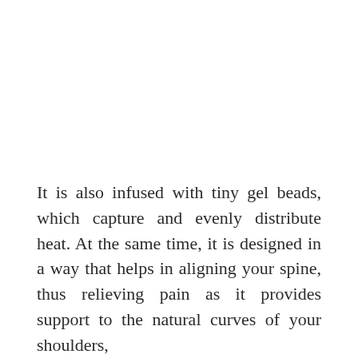It is also infused with tiny gel beads, which capture and evenly distribute heat. At the same time, it is designed in a way that helps in aligning your spine, thus relieving pain as it provides support to the natural curves of your shoulders,